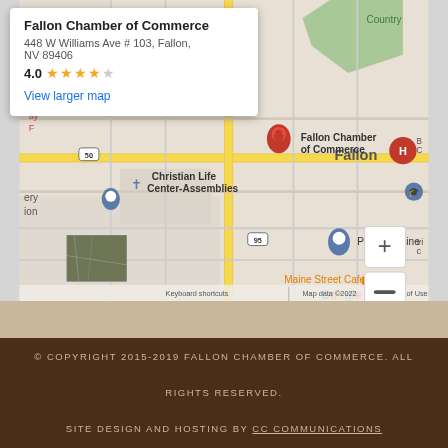[Figure (map): Google Maps screenshot showing Fallon, NV area with an info popup for Fallon Chamber of Commerce at 448 W Williams Ave #103, Fallon, NV 89406 with 4.0 star rating. Map shows streets, route 50, route 95, N Maine St, Christian Life Center-Assemblies, Patriot Business, Maine Street Cafe, and zoom controls.]
© COPYRIGHT 2015-2019 FALLON CHAMBER OF COMMERCE. ALL RIGHTS RESERVED. SITE DESIGN AND HOSTING BY CC COMMUNICATIONS